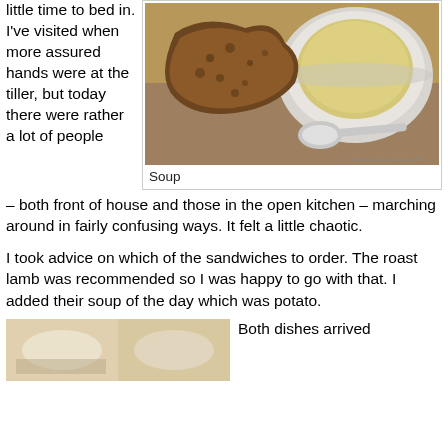little time to bed in. I've visited when more assured hands were at the tiller, but today there were rather a lot of people – both front of house and those in the open kitchen – marching around in fairly confusing ways. It felt a little chaotic.
[Figure (photo): A bowl of soup with bread and a spoon on a gray surface]
Soup
I took advice on which of the sandwiches to order. The roast lamb was recommended so I was happy to go with that. I added their soup of the day which was potato.
[Figure (photo): Partial view of food dishes on a table]
Both dishes arrived